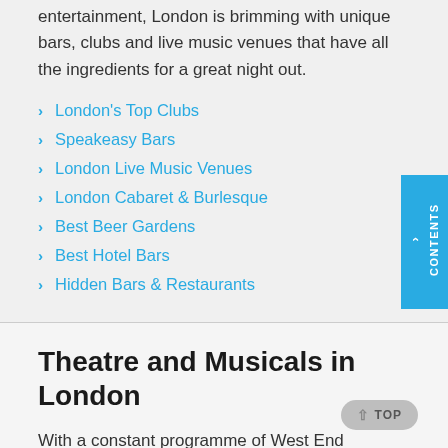entertainment, London is brimming with unique bars, clubs and live music venues that have all the ingredients for a great night out.
London's Top Clubs
Speakeasy Bars
London Live Music Venues
London Cabaret & Burlesque
Best Beer Gardens
Best Hotel Bars
Hidden Bars & Restaurants
Theatre and Musicals in London
With a constant programme of West End musicals,